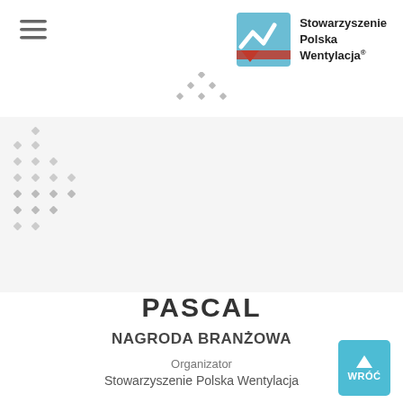[Figure (logo): Hamburger menu icon (three horizontal lines) in the top-left header area]
[Figure (logo): Stowarzyszenie Polska Wentylacja logo: blue square with white/red stylized checkmark graphic, next to bold text 'Stowarzyszenie Polska Wentylacja' with registered trademark superscript]
[Figure (illustration): Decorative diamond/rhombus dot pattern, light grey, positioned near the horizontal divider line top-center]
[Figure (illustration): Decorative diamond/rhombus dot pattern, light grey, positioned in the lower-left of the grey section]
PASCAL
NAGRODA BRANŻOWA
Organizator
Stowarzyszenie Polska Wentylacja